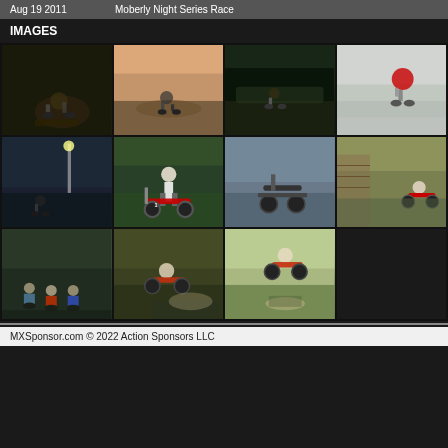Aug 19 2011  Moberly Night Series Race
IMAGES
[Figure (photo): Grid of 11 motocross racing photos showing riders on dirt bikes at various race events, including night racing, jumps, and group shots]
MXSponsor.com © 2022 Action Sponsors LLC